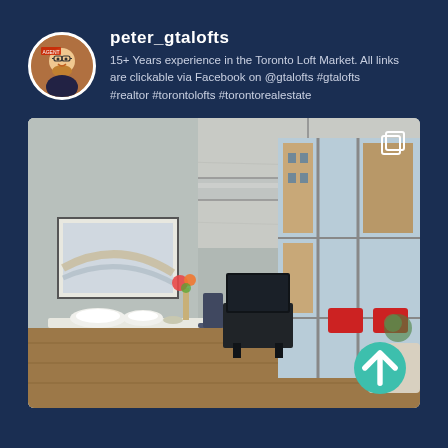[Figure (logo): Circular avatar of peter_gtalofts showing a cartoon realtor figure]
peter_gtalofts
15+ Years experience in the Toronto Loft Market. All links are clickable via Facebook on @gtalofts #gtalofts #realtor #torontolofts #torontorealestate
[Figure (photo): Interior photo of a Toronto loft showing concrete ceiling with exposed HVAC ducts, large industrial windows, a dining/living area with a TV stand, bowls on a white table, a framed landscape painting on the wall, and red chairs visible through the window]